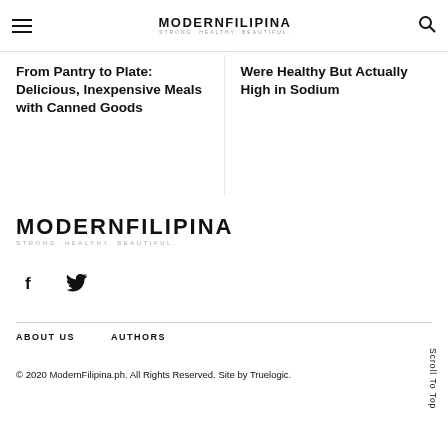MODERNFILIPINA STRONG. HEALTHY. BEAUTIFUL.
From Pantry to Plate: Delicious, Inexpensive Meals with Canned Goods
Were Healthy But Actually High in Sodium
[Figure (logo): ModernFilipina logo with tagline STRONG. HEALTHY. BEAUTIFUL.]
[Figure (illustration): Social media icons: Facebook (f) and Twitter (bird)]
ABOUT US   AUTHORS
© 2020 ModernFilipina.ph. All Rights Reserved. Site by Truelogic.
Scroll To Top